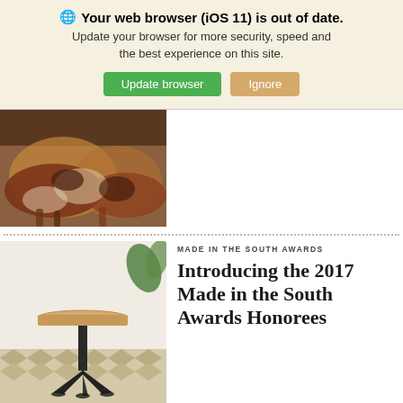🌐 Your web browser (iOS 11) is out of date. Update your browser for more security, speed and the best experience on this site. [Update browser] [Ignore]
[Figure (photo): Painting of hunting dogs resting together, warm earthy tones]
MADE IN THE SOUTH AWARDS
Introducing the 2017 Made in the South Awards Honorees
[Figure (photo): Wooden pedestal table with black cast iron base on a chevron rug, plant in background]